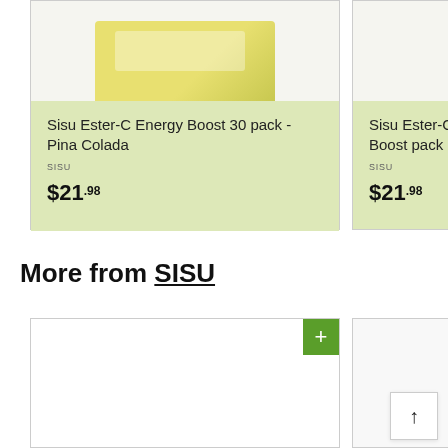[Figure (photo): Product image of Sisu Ester-C Energy Boost Pina Colada pack, yellow/cream colored box on light background]
Sisu Ester-C Energy Boost 30 pack - Pina Colada
SISU
$21.98
Sisu Ester-C Energy Boost pack - Orange
SISU
$21.98
More from SISU
[Figure (photo): Product card for another SISU product, mostly white/empty visible area with green plus button]
[Figure (photo): Partial second product card visible on the right side]